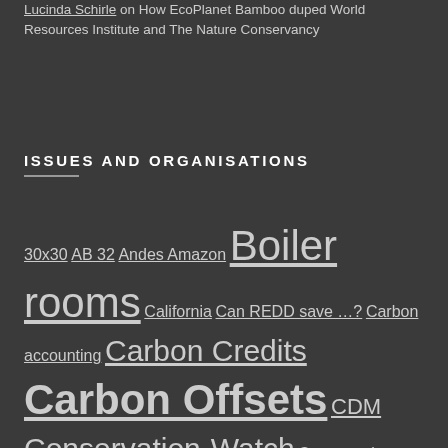Lucinda Schirle on How EcoPlanet Bamboo duped World Resources Institute and The Nature Conservancy
ISSUES AND ORGANISATIONS
30x30 AB 32 Andes Amazon Boiler rooms California Can REDD save …? Carbon accounting Carbon Credits Carbon Offsets CDM Conservation-Watch Conservation International COP21 Paris Cryptocurrency Deforestation FCPF FERN Financing REDD Fossil fuels